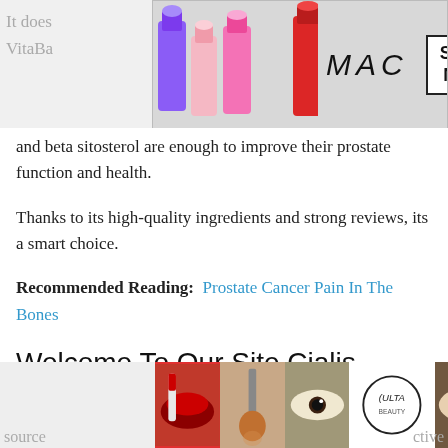[Figure (photo): MAC cosmetics advertisement banner with lipsticks, MAC logo, and SHOP NOW button, overlaying partial text]
and beta sitosterol are enough to improve their prostate function and health.
Thanks to its high-quality ingredients and strong reviews, its a smart choice.
Recommended Reading:  Prostate Cancer Pain In The Bones
Welcome To Our Site Cialis
A great way to get relief from the cold is to get rid of the pain. In addition, a great way to get the right kind of pain relief is to use the cold water. The cold water is [cut off]
[Figure (photo): ULTA beauty advertisement banner at bottom with lipstick, makeup brush, eye images, ULTA logo, and SHOP NOW button with CLOSE button]